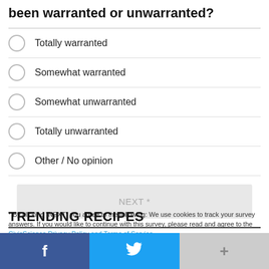been warranted or unwarranted?
Totally warranted
Somewhat warranted
Somewhat unwarranted
Totally unwarranted
Other / No opinion
NEXT *
* By clicking "NEXT" you agree to the following: We use cookies to track your survey answers. If you would like to continue with this survey, please read and agree to the CivicScience Privacy Policy and Terms of Service
TRENDING RECIPES
[Figure (other): Social sharing bar with Facebook, Twitter, and + buttons]